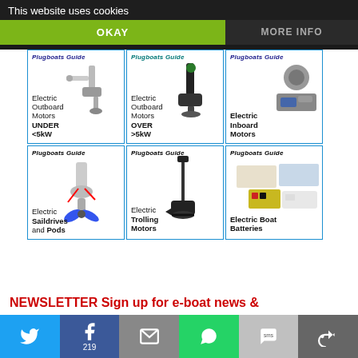This website uses cookies
OKAY
MORE INFO
[Figure (screenshot): Grid of 6 Plugboats Guide product category cards: Electric Outboard Motors UNDER <5kW, Electric Outboard Motors OVER >5kW, Electric Inboard Motors, Electric Saildrives and Pods, Electric Trolling Motors, Electric Boat Batteries]
NEWSLETTER Sign up for e-boat news &
[Figure (screenshot): Social sharing bar with Twitter, Facebook (219), Email, WhatsApp, SMS, and More icons]